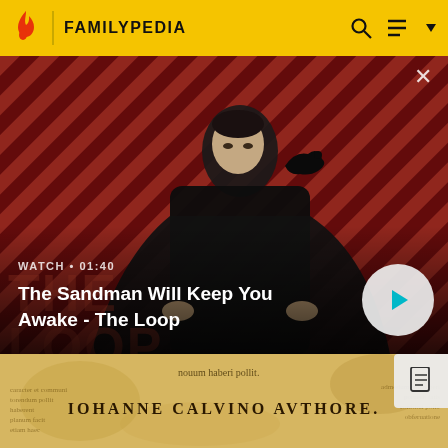FAMILYPEDIA
[Figure (screenshot): Video thumbnail for 'The Sandman Will Keep You Awake - The Loop' showing a dark-cloaked figure with a raven on their shoulder against a red diagonal striped background. Overlay shows WATCH • 01:40 and video title. A play button circle is visible on the right.]
The Sandman Will Keep You Awake - The Loop
[Figure (photo): Aged parchment document page in Latin, showing the text 'nouum haberi poslit.' and 'IOHANNE CALVINO AUTHORE.' in period-appropriate typography on yellowed manuscript paper.]